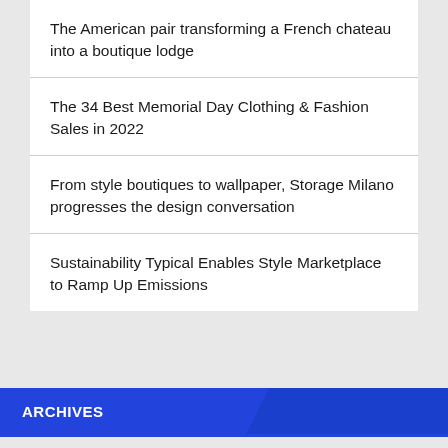The American pair transforming a French chateau into a boutique lodge
The 34 Best Memorial Day Clothing & Fashion Sales in 2022
From style boutiques to wallpaper, Storage Milano progresses the design conversation
Sustainability Typical Enables Style Marketplace to Ramp Up Emissions
ARCHIVES
Select Month